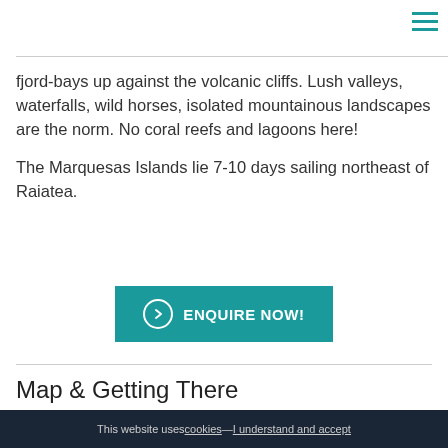fjord-bays up against the volcanic cliffs. Lush valleys, waterfalls, wild horses, isolated mountainous landscapes are the norm. No coral reefs and lagoons here!
The Marquesas Islands lie 7-10 days sailing northeast of Raiatea.
ENQUIRE NOW!
Map & Getting There
This website uses cookies — I understand and accept